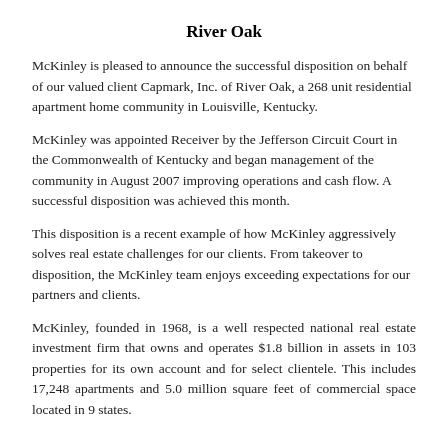River Oak
McKinley is pleased to announce the successful disposition on behalf of our valued client Capmark, Inc. of River Oak, a 268 unit residential apartment home community in Louisville, Kentucky.
McKinley was appointed Receiver by the Jefferson Circuit Court in the Commonwealth of Kentucky and began management of the community in August 2007 improving operations and cash flow. A successful disposition was achieved this month.
This disposition is a recent example of how McKinley aggressively solves real estate challenges for our clients. From takeover to disposition, the McKinley team enjoys exceeding expectations for our partners and clients.
McKinley, founded in 1968, is a well respected national real estate investment firm that owns and operates $1.8 billion in assets in 103 properties for its own account and for select clientele. This includes 17,248 apartments and 5.0 million square feet of commercial space located in 9 states.